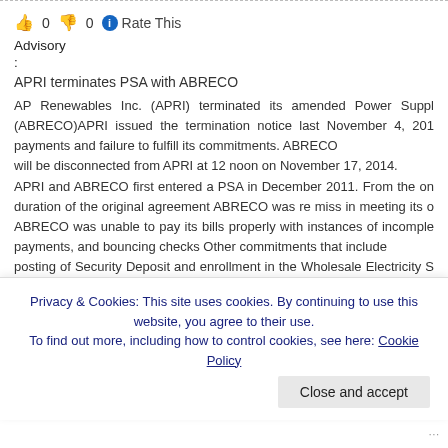👍 0 👎 0 ℹ Rate This
Advisory
:
APRI terminates PSA with ABRECO
AP Renewables Inc. (APRI) terminated its amended Power Supply Agreement (ABRECO)APRI issued the termination notice last November 4, 2014 due to non payments and failure to fulfill its commitments. ABRECO will be disconnected from APRI at 12 noon on November 17, 2014. APRI and ABRECO first entered a PSA in December 2011. From the onset and duration of the original agreement ABRECO was re miss in meeting its commitments. ABRECO was unable to pay its bills properly with instances of incomplete payments, and bouncing checks Other commitments that include posting of Security Deposit and enrollment in the Wholesale Electricity Spot Market. As a cooperative, APRI agreed to restructure Abreco's payables, to immediately credit the rate adjustment difference and to reschedule the payment of the required security deposit.
Privacy & Cookies: This site uses cookies. By continuing to use this website, you agree to their use.
To find out more, including how to control cookies, see here: Cookie Policy
Close and accept